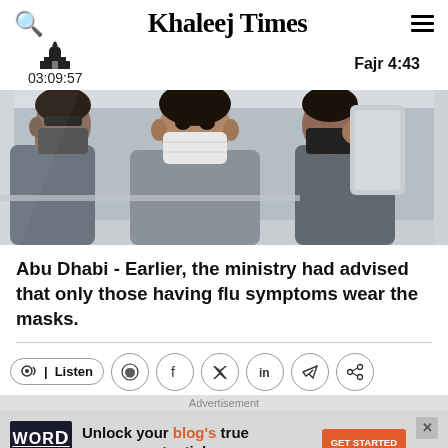Khaleej Times
03:09:57  Fajr 4:43
[Figure (photo): Three men wearing face masks sitting inside a car, viewed through the windshield]
Abu Dhabi - Earlier, the ministry had advised that only those having flu symptoms wear the masks.
[Figure (infographic): Social sharing bar with Listen button, WhatsApp, Facebook, Twitter, LinkedIn, Telegram, and share icons]
[Figure (infographic): Advertisement banner for Word Monetize: Unlock your blog's true revenue potential - GET STARTED]